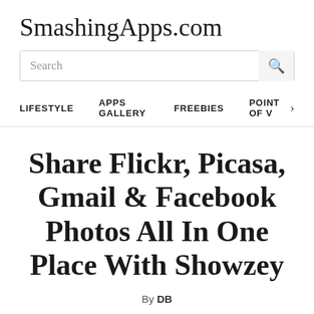SmashingApps.com
Search
LIFESTYLE   APPS GALLERY   FREEBIES   POINT OF V >
Share Flickr, Picasa, Gmail & Facebook Photos All In One Place With Showzey
By DB
[Figure (logo): Showzey logo with green leaf icon and brand name text on light green background]